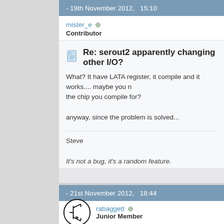- 19th November 2012,   15:10
mister_e  Contributor
Re: serout2 apparently changing other I/O?
What? It have LATA register, it compile and it works.... maybe you need to check the chip you compile for?

anyway, since the problem is solved...
Steve

It's not a bug, it's a random feature.
There's no problem, only learning opportunities.
- 21st November 2012,   18:44
rabaggett  Junior Member